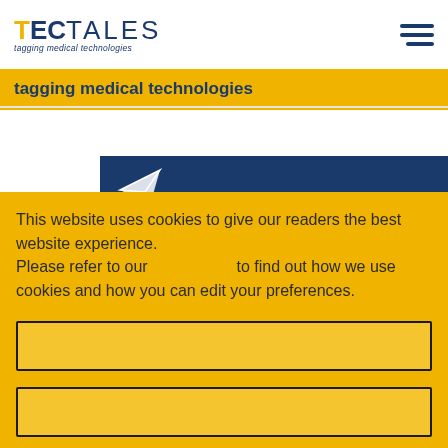TEC TALES – tagging medical technologies
tagging medical technologies
[Figure (illustration): Blue navy card with paper plane icon and partial text 'Subscribe to Newsletter']
This website uses cookies to give our readers the best website experience.
Please refer to our [cookie policy] to find out how we use cookies and how you can edit your preferences.